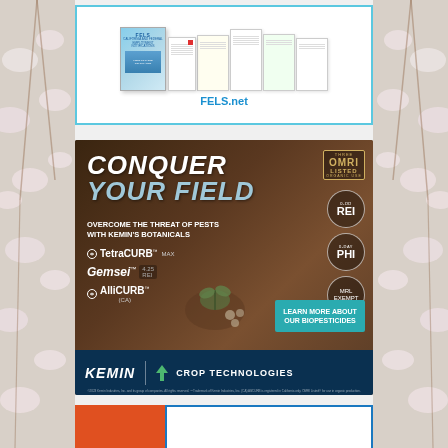[Figure (infographic): FELS.net advertisement showing compliance posting documents fanned out with a URL 'FELS.net' in teal/blue text, bordered in light blue]
[Figure (infographic): Kemin Crop Technologies advertisement: 'Conquer Your Field - Overcome the threat of pests with Kemin's Botanicals'. Products shown: TetraCURB MAX, Gemsei (4.25 REI), AlliCURB (CA). OMRI Listed badge, 0-DD REI, 0-DAY PHI, MRL Exempt badges. Teal 'Learn More About Our Biopesticides' button. Dark blue footer with Kemin Crop Technologies logo.]
[Figure (infographic): Partial view of a third advertisement at the bottom with orange and blue border sections visible]